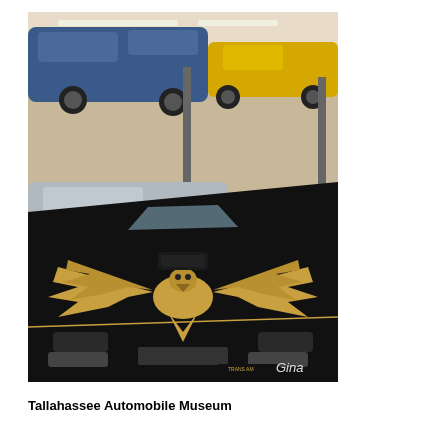[Figure (photo): Interior of the Tallahassee Automobile Museum showing multiple classic cars on display. In the foreground is a black Pontiac Trans Am with a gold firebird/phoenix hood decal. Behind it is a silver car, and elevated on lifts above are a dark blue car and a yellow sports car. The photo has a 'Gina' watermark in the lower right corner.]
Tallahassee Automobile Museum